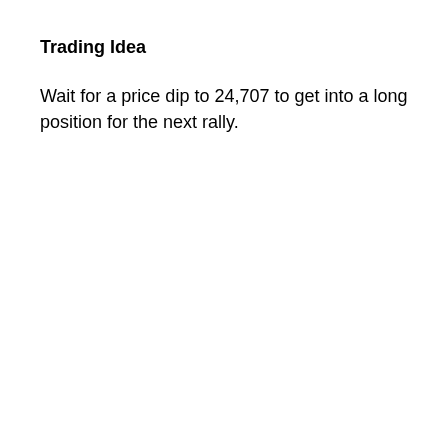Trading Idea
Wait for a price dip to 24,707 to get into a long position for the next rally.